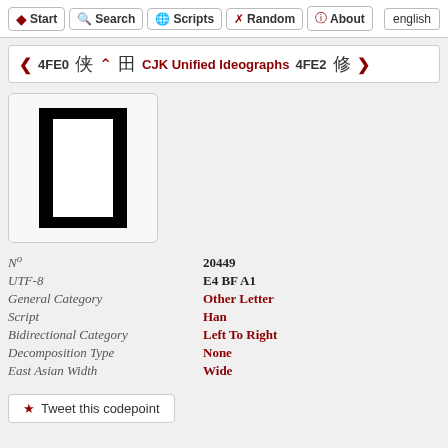Start  Search  Scripts  Random  About  english
< 4FE0 侠 ^ 田 CJK Unified Ideographs 4FE2 修 >
[Figure (other): Large CJK character 冁 displayed in a rounded rectangle box]
| Nº | 20449 |
| UTF-8 | E4 BF A1 |
| General Category | Other Letter |
| Script | Han |
| Bidirectional Category | Left To Right |
| Decomposition Type | None |
| East Asian Width | Wide |
★ Tweet this codepoint